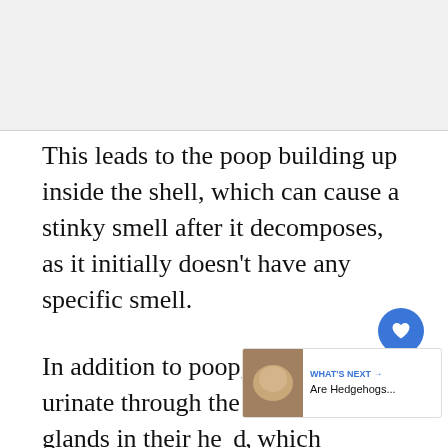[Figure (photo): Image placeholder at top of page (content clipped/above view)]
This leads to the poop building up inside the shell, which can cause a stinky smell after it decomposes, as it initially doesn't have any specific smell.
In addition to poop, they can also urinate through the antennal glands in their head, which prevents the urine from mixing with drinking water stored in the shell. They usually pee on the substrate, which can